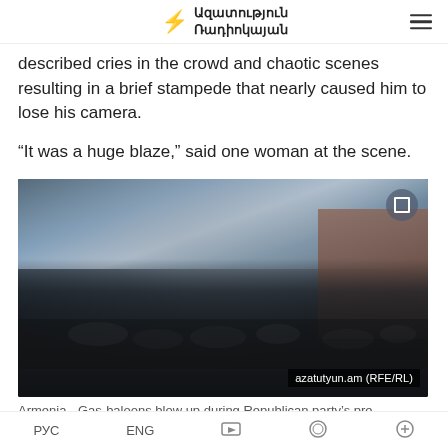Ազատություն Ռադիոկայան
described cries in the crowd and chaotic scenes resulting in a brief stampede that nearly caused him to lose his camera.
“It was a huge blaze,” said one woman at the scene.
[Figure (photo): Video still showing a large crowd gathered at an outdoor scene with smoke-filled sky and a brick building visible on the right. Watermark reads: azatutyun.am (RFE/RL)]
Armenia - Gas-baloons blow up during Republican party’s pre-
РУС   ENG   [video icon]   [share icon]   [search icon]